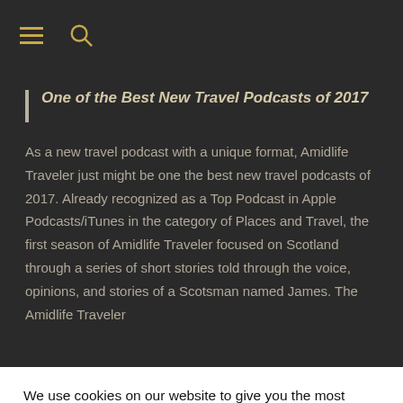One of the Best New Travel Podcasts of 2017
As a new travel podcast with a unique format, Amidlife Traveler just might be one the best new travel podcasts of 2017. Already recognized as a Top Podcast in Apple Podcasts/iTunes in the category of Places and Travel, the first season of Amidlife Traveler focused on Scotland through a series of short stories told through the voice, opinions, and stories of a Scotsman named James. The Amidlife Traveler
We use cookies on our website to give you the most relevant experience by remembering your preferences and repeat visits. By clicking “Accept”, you consent to the use of ALL the cookies.
Cookie settings
ACCEPT